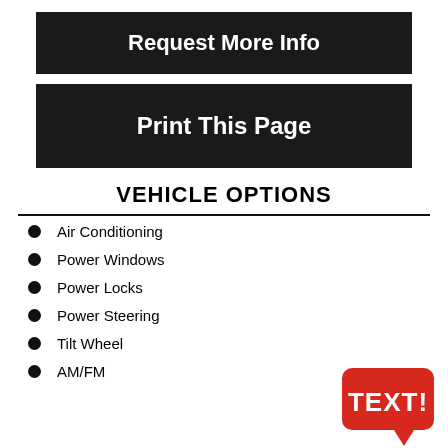Request More Info
Print This Page
VEHICLE OPTIONS
Air Conditioning
Power Windows
Power Locks
Power Steering
Tilt Wheel
AM/FM
[Figure (illustration): Red speech bubble badge with white bold text 'TEXT!']